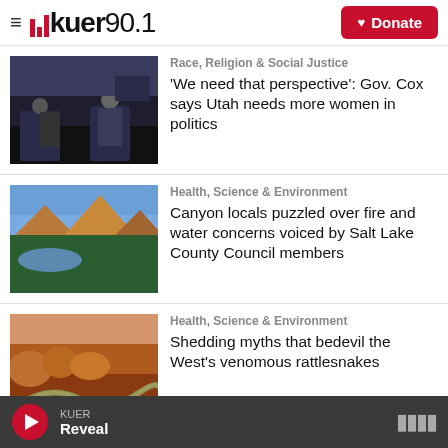KUER 90.1 — Donate
Race, Religion & Social Justice
[Figure (photo): Two people seated on stage at a public event in a darkened auditorium]
'We need that perspective': Gov. Cox says Utah needs more women in politics
Health, Science & Environment
[Figure (photo): Aerial view of a mountain canyon with forest and lake]
Canyon locals puzzled over fire and water concerns voiced by Salt Lake County Council members
Health, Science & Environment
[Figure (photo): A rattlesnake on red rocky terrain with desert rock formations]
Shedding myths that bedevil the West's venomous rattlesnakes
KUER Reveal